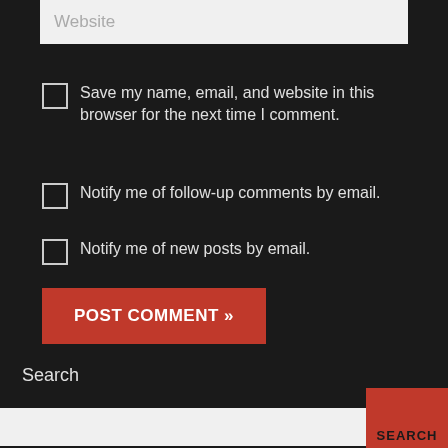[Figure (screenshot): Website input text field with placeholder text 'Website' on light grey background]
Save my name, email, and website in this browser for the next time I comment.
Notify me of follow-up comments by email.
Notify me of new posts by email.
POST COMMENT »
Search
[Figure (screenshot): Search input field and SEARCH button]